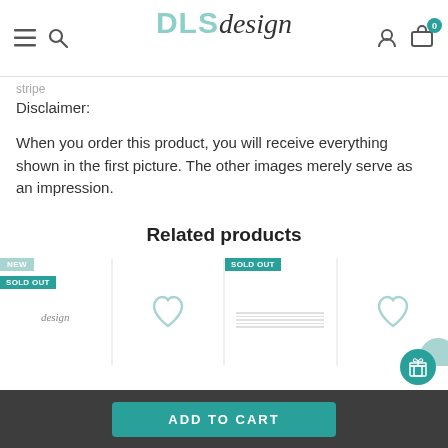DLS design
Disclaimer:
When you order this product, you will receive everything shown in the first picture. The other images merely serve as an impression.
Related products
[Figure (screenshot): Row of four related product thumbnails with NEW and SOLD OUT badges]
ADD TO CART